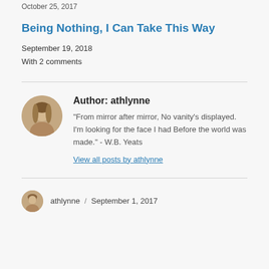October 25, 2017
Being Nothing, I Can Take This Way
September 19, 2018
With 2 comments
Author: athlynne
"From mirror after mirror, No vanity's displayed. I'm looking for the face I had Before the world was made." - W.B. Yeats
View all posts by athlynne
athlynne / September 1, 2017